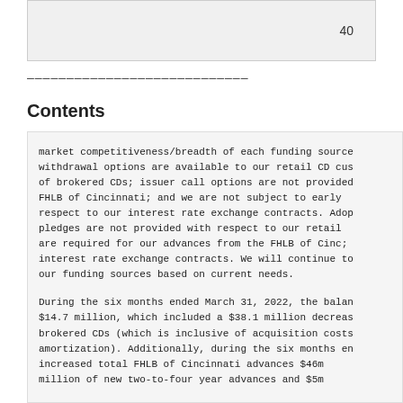40
————————————————————————————
Contents
market competitiveness/breadth of each funding source; withdrawal options are available to our retail CD customers of brokered CDs; issuer call options are not provided to the FHLB of Cincinnati; and we are not subject to early termination respect to our interest rate exchange contracts. Additionally, pledges are not provided with respect to our retail CDs, but are required for our advances from the FHLB of Cincinnati and interest rate exchange contracts. We will continue to evaluate our funding sources based on current needs.

During the six months ended March 31, 2022, the balance decreased $14.7 million, which included a $38.1 million decrease in brokered CDs (which is inclusive of acquisition costs and amortization). Additionally, during the six months ended, we increased total FHLB of Cincinnati advances $46 million with $5 million of new two-to-four year advances and $5 million...